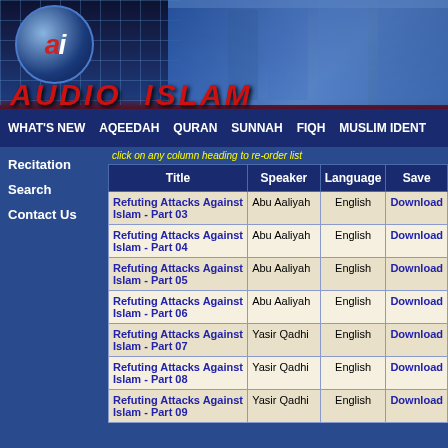[Figure (logo): Audio Islam website header banner with logo globe, AI initials, architectural background in blue tones, and red AUDIO ISLAM brand name]
WHAT'S NEW  AQEEDAH  QURAN  SUNNAH  FIQH  MUSLIM IDENT
Recitation
Search
Contact Us
click on any column heading to re-order list
| Title | Speaker | Language | Save |
| --- | --- | --- | --- |
| Refuting Attacks Against Islam - Part 03 | Abu Aaliyah | English | Download |
| Refuting Attacks Against Islam - Part 04 | Abu Aaliyah | English | Download |
| Refuting Attacks Against Islam - Part 05 | Abu Aaliyah | English | Download |
| Refuting Attacks Against Islam - Part 06 | Abu Aaliyah | English | Download |
| Refuting Attacks Against Islam - Part 07 | Yasir Qadhi | English | Download |
| Refuting Attacks Against Islam - Part 08 | Yasir Qadhi | English | Download |
| Refuting Attacks Against Islam - Part 09 | Yasir Qadhi | English | Download |